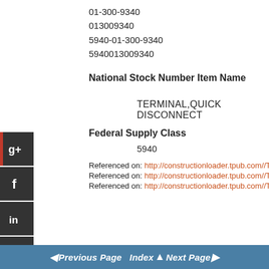01-300-9340
013009340
5940-01-300-9340
5940013009340
National Stock Number
Item Name
TERMINAL,QUICK DISCONNECT
Federal Supply Class
5940
Referenced on: http://constructionloader.tpub.com//TM-5-3805-262-
Referenced on: http://constructionloader.tpub.com//TM-5-3805-262-
Referenced on: http://constructionloader.tpub.com//TM-5-3805-262-
◄ Previous Page  Index ▲  Next Page ►